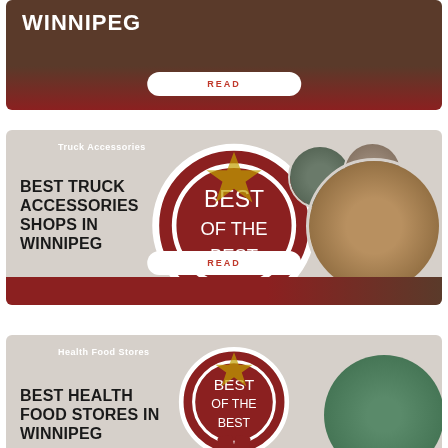[Figure (illustration): Top card partially visible showing WINNIPEG text in white bold uppercase on dark brown background with a READ button]
[Figure (illustration): Card for Best Truck Accessories Shops in Winnipeg with badge, category label, bold title text, truck image circles, and READ button on gray background with dark red bottom bar]
[Figure (illustration): Card for Best Health Food Stores in Winnipeg with badge, category label, bold title text partially visible, and circular photo of woman in green top browsing store shelves]